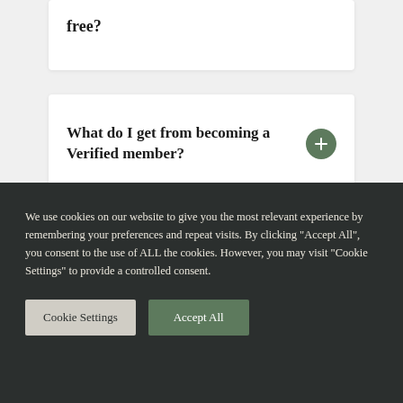free?
What do I get from becoming a Verified member?
Does Expert Trades build websites for trades?
We use cookies on our website to give you the most relevant experience by remembering your preferences and repeat visits. By clicking "Accept All", you consent to the use of ALL the cookies. However, you may visit "Cookie Settings" to provide a controlled consent.